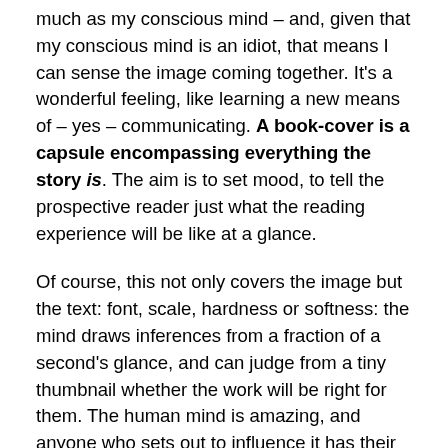much as my conscious mind – and, given that my conscious mind is an idiot, that means I can sense the image coming together. It's a wonderful feeling, like learning a new means of – yes – communicating. A book-cover is a capsule encompassing everything the story is. The aim is to set mood, to tell the prospective reader just what the reading experience will be like at a glance.
Of course, this not only covers the image but the text: font, scale, hardness or softness: the mind draws inferences from a fraction of a second's glance, and can judge from a tiny thumbnail whether the work will be right for them. The human mind is amazing, and anyone who sets out to influence it has their work cut out.
But right now I'm lost in the sheer joy of creation. I hope, deeply hope, that I find the other aspects of self-publishing